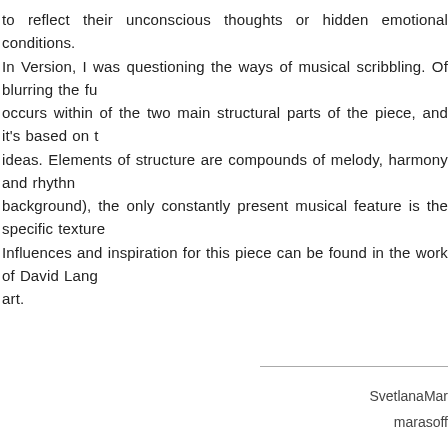to reflect their unconscious thoughts or hidden emotional conditions. In Version, I was questioning the ways of musical scribbling. Of blurring the fu occurs within of the two main structural parts of the piece, and it's based on t ideas. Elements of structure are compounds of melody, harmony and rhythn background), the only constantly present musical feature is the specific texture Influences and inspiration for this piece can be found in the work of David Lang art.
SvetlanaMar
marasoff